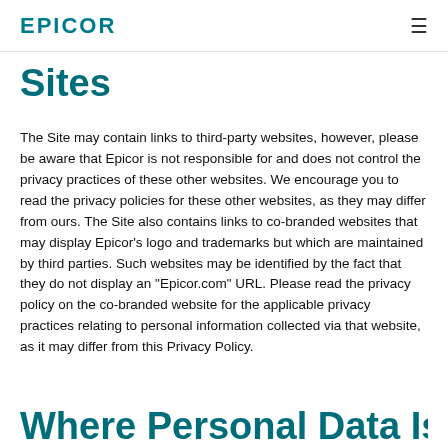EPICOR
Sites
The Site may contain links to third-party websites, however, please be aware that Epicor is not responsible for and does not control the privacy practices of these other websites. We encourage you to read the privacy policies for these other websites, as they may differ from ours. The Site also contains links to co-branded websites that may display Epicor's logo and trademarks but which are maintained by third parties. Such websites may be identified by the fact that they do not display an "Epicor.com" URL. Please read the privacy policy on the co-branded website for the applicable privacy practices relating to personal information collected via that website, as it may differ from this Privacy Policy.
Where Personal Data Is